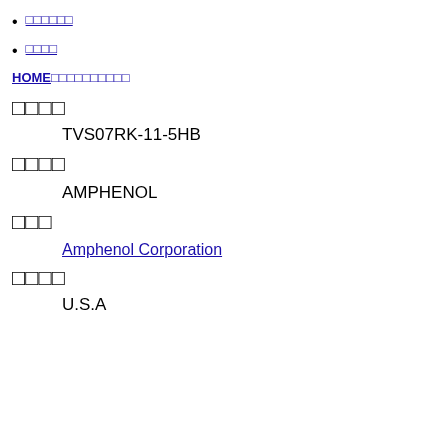□□□□□□
□□□□
HOME □□□□□ □□□□□
□□□□
TVS07RK-11-5HB
□□□□
AMPHENOL
□□□
Amphenol Corporation
□□□□
U.S.A